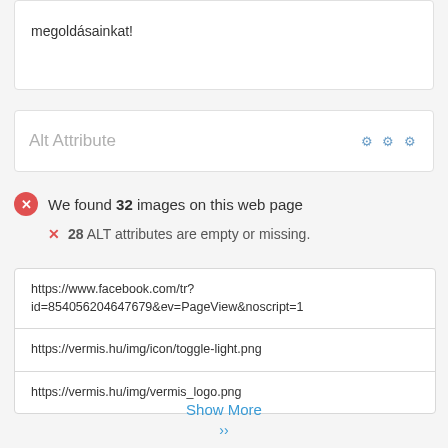megoldásainkat!
Alt Attribute
We found 32 images on this web page
28 ALT attributes are empty or missing.
| https://www.facebook.com/tr?id=854056204647679&ev=PageView&noscript=1 |
| https://vermis.hu/img/icon/toggle-light.png |
| https://vermis.hu/img/vermis_logo.png |
Show More